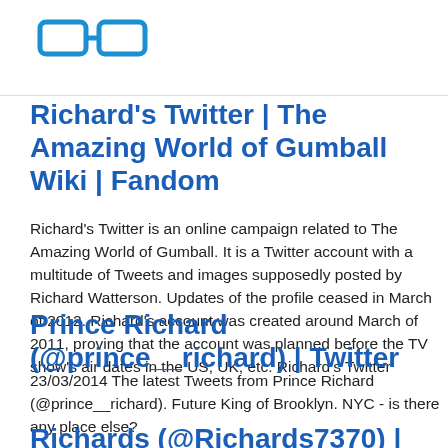[Figure (logo): Two rectangular glasses icon in blue outline style, representing a Fandom wiki logo]
Richard's Twitter | The Amazing World of Gumball Wiki | Fandom
Richard's Twitter is an online campaign related to The Amazing World of Gumball. It is a Twitter account with a multitude of Tweets and images supposedly posted by Richard Watterson. Updates of the profile ceased in March of 2012. Richard's account was created around March of 2011, proving that the account was planned before the TV show's air dates in the US, UK, etc. Richard's Twitter
Prince Richard (@prince__richard) | Twitter
23/03/2014 The latest Tweets from Prince Richard (@prince__richard). Future King of Brooklyn. NYC - is there any place else?
Richards (@Richards7370) |